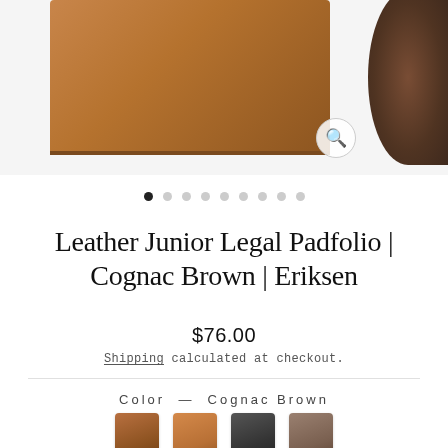[Figure (photo): Product photo of cognac brown leather padfolio, partially shown from above, with a coffee cup on the right side. A magnifying glass search icon is overlaid in the upper right area.]
Leather Junior Legal Padfolio | Cognac Brown | Eriksen
$76.00
Shipping calculated at checkout.
Color — Cognac Brown
[Figure (photo): Four color swatches showing padfolio color options: dark brown, cognac brown, dark gray/black, and taupe/gray-brown leather variants.]